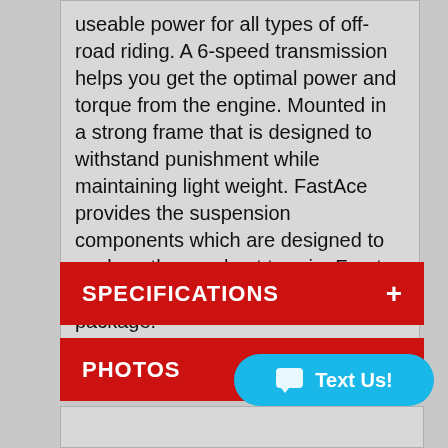useable power for all types of off-road riding. A 6-speed transmission helps you get the optimal power and torque from the engine. Mounted in a strong frame that is designed to withstand punishment while maintaining light weight. FastAce provides the suspension components which are designed to soak up the roughest terrain. Front and rear taillights round out the package.
SPECIFICATIONS +
PHOTOS +
[Figure (screenshot): Cyan 'Text Us!' chat button with speech bubble icon]